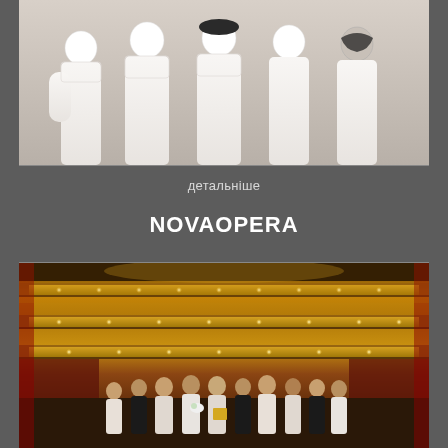[Figure (photo): Group of five female mime performers wearing white dresses and white face makeup/masks, posed together against a light background]
детальніше
NOVAOPERA
[Figure (photo): Group of performers standing on stage inside a grand opera house with ornate golden balconies and warm lighting; some holding flowers and a plaque/award]